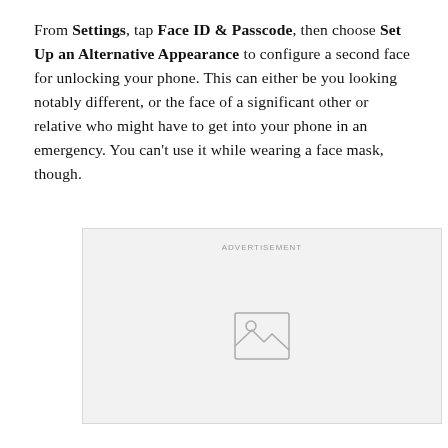From Settings, tap Face ID & Passcode, then choose Set Up an Alternative Appearance to configure a second face for unlocking your phone. This can either be you looking notably different, or the face of a significant other or relative who might have to get into your phone in an emergency. You can't use it while wearing a face mask, though.
[Figure (other): Advertisement placeholder box with a grey background, the word ADVERTISEMENT at the top, and a generic image placeholder icon (rectangle with mountain/sun) in the center.]